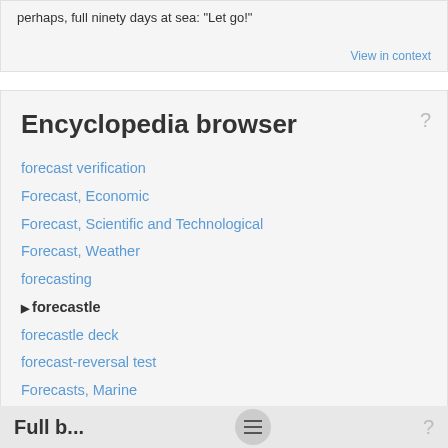perhaps, full ninety days at sea: "Let go!"
View in context
Encyclopedia browser
forecast verification
Forecast, Economic
Forecast, Scientific and Technological
Forecast, Weather
forecasting
forecastle
forecastle deck
forecast-reversal test
Forecasts, Marine
forechurch
foreclosure
foreclosure sale